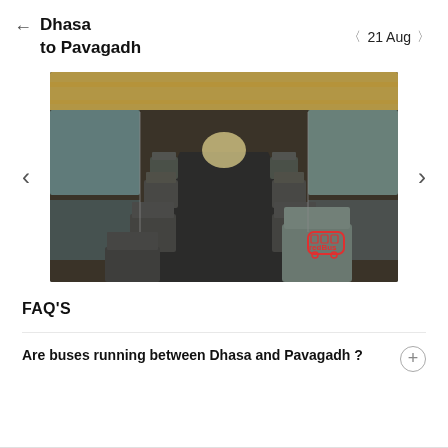Dhasa to Pavagadh   21 Aug
[Figure (photo): Interior of a bus showing rows of dark grey seats receding into the distance, with large windows on both sides. Natural light streaming in. A redBus logo visible on a headrest in the foreground right.]
FAQ'S
Are buses running between Dhasa and Pavagadh ?